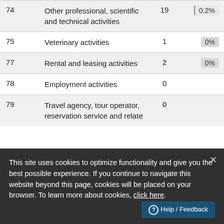| Code | Activity | Count | Percentage |
| --- | --- | --- | --- |
| 74 | Other professional, scientific and technical activities | 19 | 0.2% |
| 75 | Veterinary activities | 1 | 0% |
| 77 | Rental and leasing activities | 2 | 0% |
| 78 | Employment activities | 0 |  |
| 79 | Travel agency, tour operator, reservation service and relate | 0 |  |
This site uses cookies to optimize functionality and give you the best possible experience. If you continue to navigate this website beyond this page, cookies will be placed on your browser. To learn more about cookies, click here.